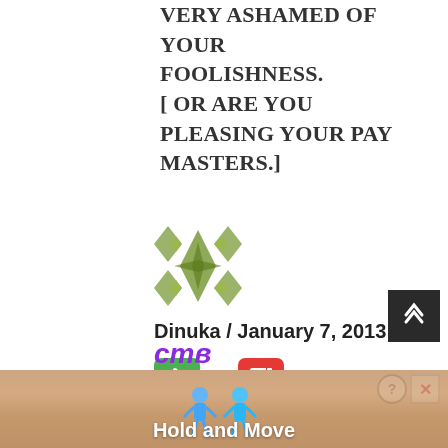VERY ASHAMED OF YOUR FOOLISHNESS. [ OR ARE YOU PLEASING YOUR PAY MASTERS.]
[Figure (illustration): Decorative geometric diamond/star pattern avatar icon in olive green color]
Dinuka / January 7, 2013
[Figure (infographic): Thumbs up (green) vote button showing 0 and thumbs down (red) vote button showing 0]
K.A Sumanasekera- resident troll and backside licker for this regime
[Figure (screenshot): Advertisement banner for 'Hold and Move' mobile game showing cartoonish figures on a wooden background]